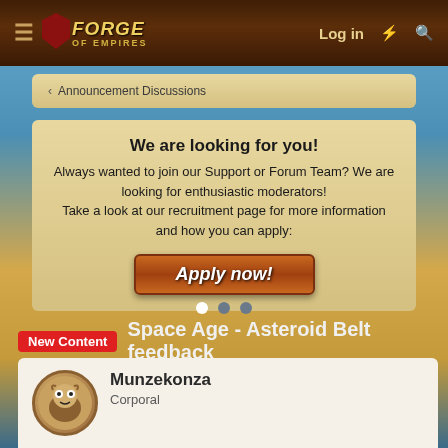Forge of Empires — Log in
Announcement Discussions
We are looking for you!
Always wanted to join our Support or Forum Team? We are looking for enthusiastic moderators! Take a look at our recruitment page for more information and how you can apply:
Apply now!
Space Age - Asteroid Belt feedback
DeletedUser119613 · Apr 16, 2020
6 of 12
Munzekonza
Corporal